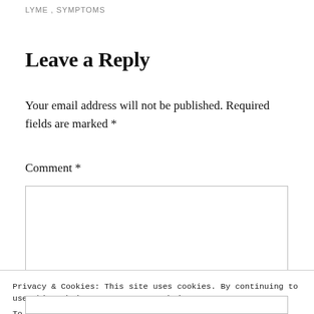LYME , SYMPTOMS
Leave a Reply
Your email address will not be published. Required fields are marked *
Comment *
Privacy & Cookies: This site uses cookies. By continuing to use this website, you agree to their use.
To find out more, including how to control cookies, see here: Cookie Policy